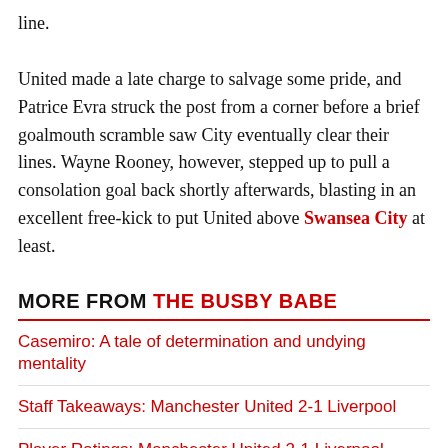line. United made a late charge to salvage some pride, and Patrice Evra struck the post from a corner before a brief goalmouth scramble saw City eventually clear their lines. Wayne Rooney, however, stepped up to pull a consolation goal back shortly afterwards, blasting in an excellent free-kick to put United above Swansea City at least.
MORE FROM THE BUSBY BABE
Casemiro: A tale of determination and undying mentality
Staff Takeaways: Manchester United 2-1 Liverpool
Player Ratings: Manchester United 2-1 Liverpool
Manchester United 2-1 Liverpool: United impresses in first